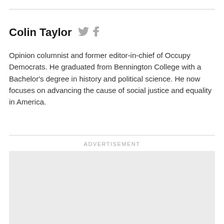Colin Taylor
Opinion columnist and former editor-in-chief of Occupy Democrats. He graduated from Bennington College with a Bachelor's degree in history and political science. He now focuses on advancing the cause of social justice and equality in America.
ADVERTISEMENT